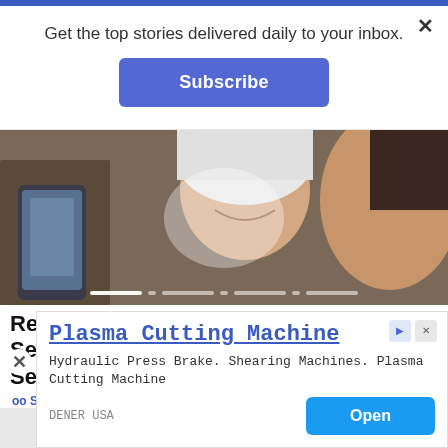Get the top stories delivered daily to your inbox.
Subscribe
[Figure (photo): Two women smiling, one elderly with white hair and one younger with dark hair, looking at a smartphone together]
Research The Best Cell Phone Plans For Seniors. Seniors - Explore Different Plan Options
oo Search | Sponsored
Plasma Cutting Machine
Hydraulic Press Brake. Shearing Machines. Plasma Cutting Machine
DENER USA
Open